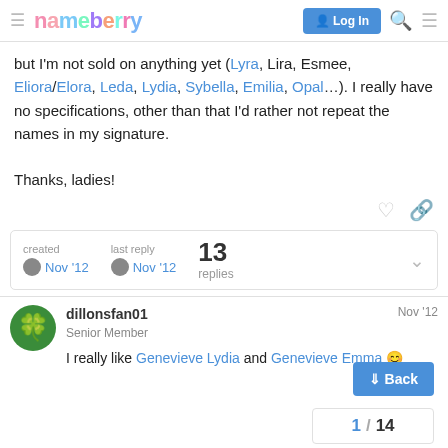nameberry — Log In
but I'm not sold on anything yet (Lyra, Lira, Esmee, Eliora/Elora, Leda, Lydia, Sybella, Emilia, Opal…). I really have no specifications, other than that I'd rather not repeat the names in my signature.

Thanks, ladies!
created Nov '12  |  last reply Nov '12  |  13 replies
dillonsfan01  Nov '12
Senior Member
I really like Genevieve Lydia and Genevieve Emma 😊
1 / 14